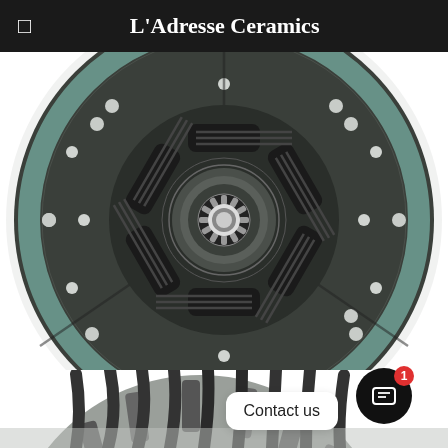L'Adresse Ceramics
[Figure (photo): Close-up photograph of a clutch disc (friction plate) for an automotive clutch system, showing the dark grey friction material, coil springs in a star pattern, central hub with splines, and multiple rivets/bolts around the disc, viewed from the front/top.]
[Figure (photo): Partial photograph of a clutch pressure plate assembly, showing the grey metal cover and finger springs, viewed from above.]
Contact us